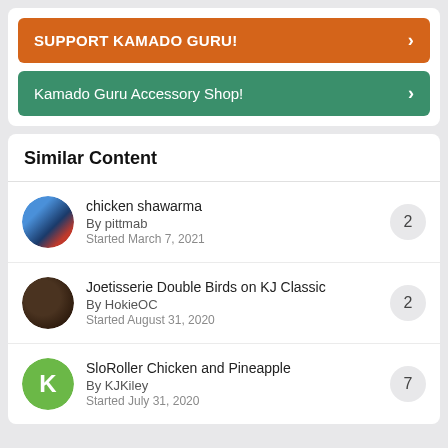SUPPORT KAMADO GURU!
Kamado Guru Accessory Shop!
Similar Content
chicken shawarma
By pittmab
Started March 7, 2021
2
Joetisserie Double Birds on KJ Classic
By HokieOC
Started August 31, 2020
2
SloRoller Chicken and Pineapple
By KJKiley
Started July 31, 2020
7